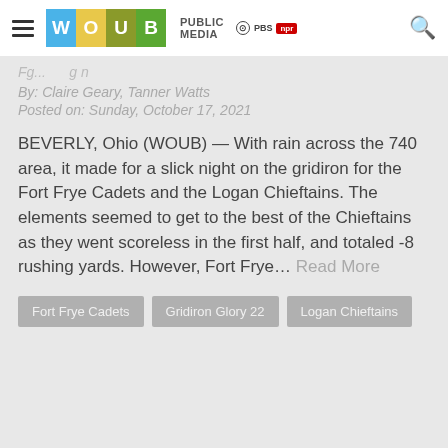WOUB Public Media — PBS NPR
By: Claire Geary, Tanner Watts
Posted on: Sunday, October 17, 2021
BEVERLY, Ohio (WOUB) — With rain across the 740 area, it made for a slick night on the gridiron for the Fort Frye Cadets and the Logan Chieftains. The elements seemed to get to the best of the Chieftains as they went scoreless in the first half, and totaled -8 rushing yards. However, Fort Frye… Read More
Fort Frye Cadets
Gridiron Glory 22
Logan Chieftains